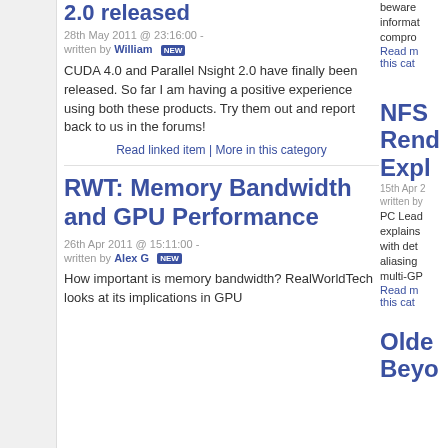2.0 released
28th May 2011 @ 23:16:00 - written by William [NEW]
CUDA 4.0 and Parallel Nsight 2.0 have finally been released. So far I am having a positive experience using both these products. Try them out and report back to us in the forums!
Read linked item | More in this category
RWT: Memory Bandwidth and GPU Performance
26th Apr 2011 @ 15:11:00 - written by Alex G [NEW]
How important is memory bandwidth? RealWorldTech looks at its implications in GPU
NFS Rend Expl
15th Apr 2
written by
PC Lead explains with det aliasing multi-GP
Read m this cat
Olde Beyo